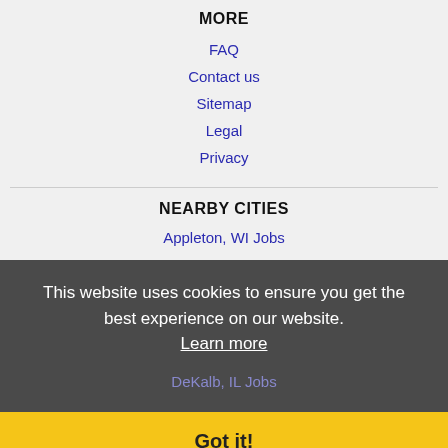MORE
FAQ
Contact us
Sitemap
Legal
Privacy
NEARBY CITIES
Appleton, WI Jobs
Arlington Heights, IL Jobs
Bourbonnais, IL Jobs
Buffalo Grove, IL Jobs
Crystal Lake, IL Jobs
DeKalb, IL Jobs
Dubuque, IA Jobs
Elgin, IL Jobs
Fond du Lac, WI Jobs
This website uses cookies to ensure you get the best experience on our website. Learn more
Got it!